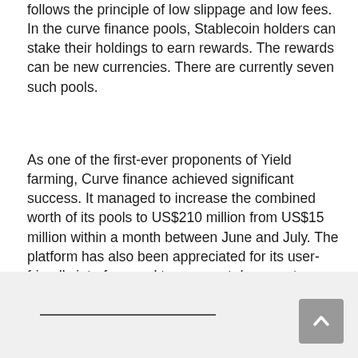follows the principle of low slippage and low fees. In the curve finance pools, Stablecoin holders can stake their holdings to earn rewards. The rewards can be new currencies. There are currently seven such pools.
As one of the first-ever proponents of Yield farming, Curve finance achieved significant success. It managed to increase the combined worth of its pools to US$210 million from US$15 million within a month between June and July. The platform has also been appreciated for its user-friendly interface and transparent documents.